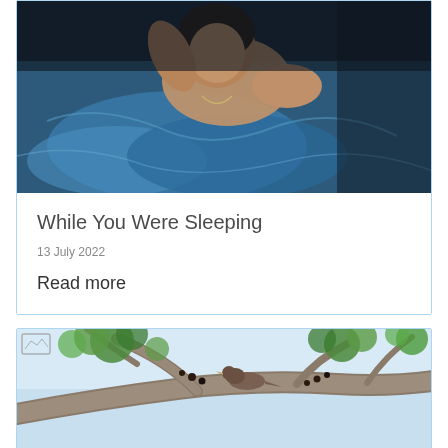[Figure (photo): A man sleeping in bed with blue sheets, photographed from above in dim lighting]
While You Were Sleeping
13 July 2022
Read more
[Figure (photo): A bird perched on a tree branch with green leaves against a light blue sky background]